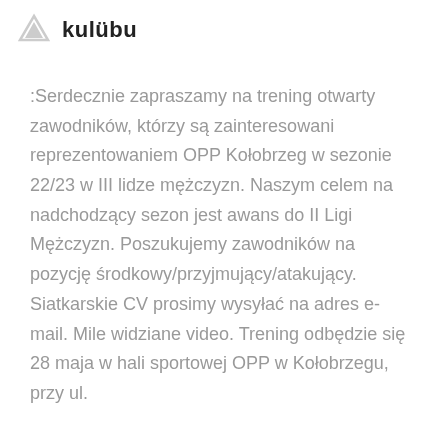kulübu
:Serdecznie zapraszamy na trening otwarty zawodników, którzy są zainteresowani reprezentowaniem OPP Kołobrzeg w sezonie 22/23 w III lidze mężczyzn. Naszym celem na nadchodzący sezon jest awans do II Ligi Mężczyzn. Poszukujemy zawodników na pozycję środkowy/przyjmujący/atakujący. Siatkarskie CV prosimy wysyłać na adres e-mail. Mile widziane video. Trening odbędzie się 28 maja w hali sportowej OPP w Kołobrzegu, przy ul.